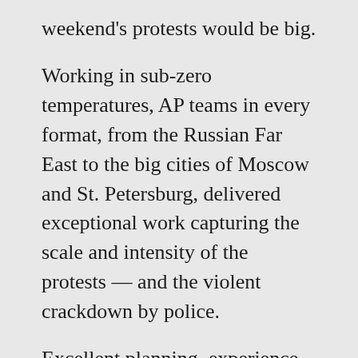weekend's protests would be big.
Working in sub-zero temperatures, AP teams in every format, from the Russian Far East to the big cities of Moscow and St. Petersburg, delivered exceptional work capturing the scale and intensity of the protests — and the violent crackdown by police.
Excellent planning, experience and a wide network of freelancers across the country's 11 time zones were among the factors that gave AP the edge over the competition.
Factoring in &lt;partial text cut off at bottom&gt;